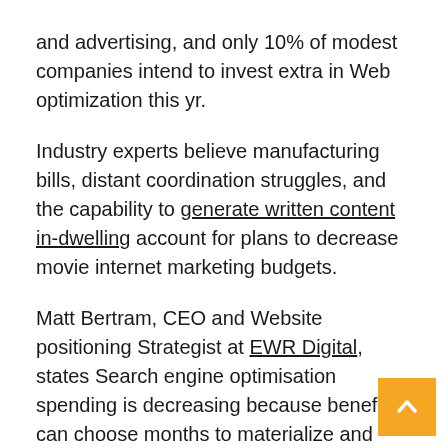and advertising, and only 10% of modest companies intend to invest extra in Web optimization this yr.
Industry experts believe manufacturing bills, distant coordination struggles, and the capability to generate written content in-dwelling account for plans to decrease movie internet marketing budgets.
Matt Bertram, CEO and Website positioning Strategist at EWR Digital, states Search engine optimisation spending is decreasing because benefits can choose months to materialize and little providers facial area an algorithmic downside when competing against much larger makes.
“Tiny corporations are usually disappointed w… Seo mainly because it won’t give them an…